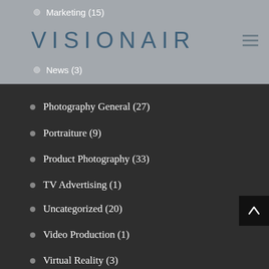VISIONAIR
Marketing (15)
News (3)
Photography General (27)
Portraiture (9)
Product Photography (33)
TV Advertising (1)
Uncategorized (20)
Video Production (1)
Virtual Reality (3)
RECENT POSTS
How is a video produced